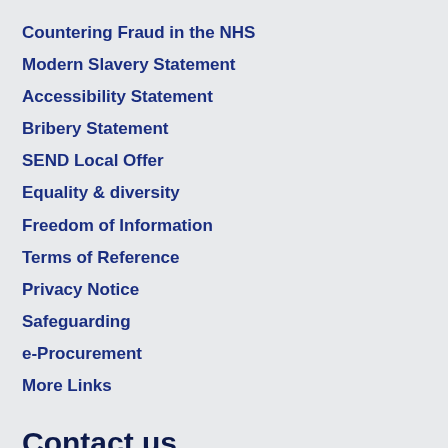Countering Fraud in the NHS
Modern Slavery Statement
Accessibility Statement
Bribery Statement
SEND Local Offer
Equality & diversity
Freedom of Information
Terms of Reference
Privacy Notice
Safeguarding
e-Procurement
More Links
Contact us